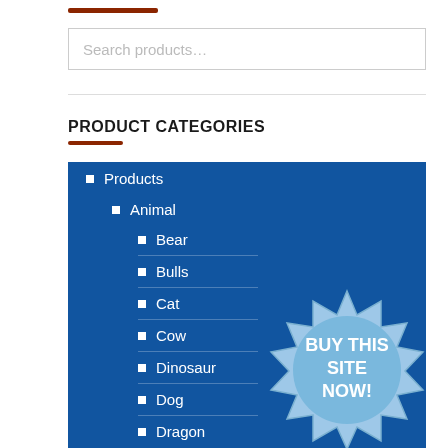Search products…
PRODUCT CATEGORIES
Products
Animal
Bear
Bulls
Cat
Cow
Dinosaur
Dog
Dragon
[Figure (illustration): Starburst badge with text BUY THIS SITE NOW!]